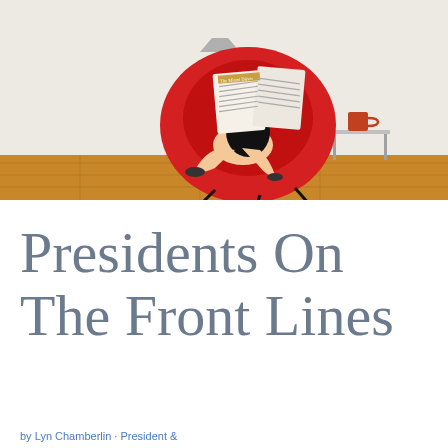lyn chamberlin leadership
[Figure (illustration): Illustration of a person sitting in a large red egg-shaped chair reading a newspaper titled 'The Miami Diiver', set against a beige/cream background with a floor lamp and a small table with a coffee mug. Orange/wood-toned floor at bottom.]
Presidents On The Front Lines
by Lyn Chamberlin · President &